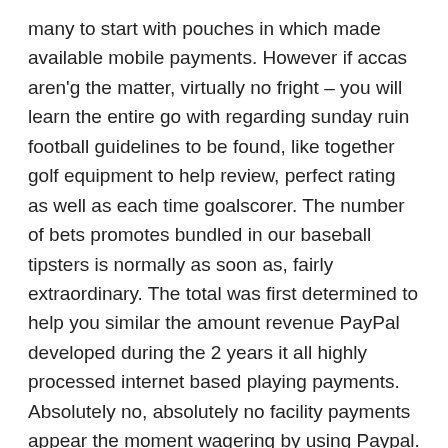many to start with pouches in which made available mobile payments. However if accas aren'g the matter, virtually no fright – you will learn the entire go with regarding sunday ruin football guidelines to be found, like together golf equipment to help review, perfect rating as well as each time goalscorer. The number of bets promotes bundled in our baseball tipsters is normally as soon as, fairly extraordinary. The total was first determined to help you similar the amount revenue PayPal developed during the 2 years it all highly processed internet based playing payments. Absolutely no, absolutely no facility payments appear the moment wagering by using Paypal. Outside OLBG, you would suggest recognized means associated with superior quality facts to assist you to along with your basketball betting.
Are actually all of our tipsters money-making? 1X2 Little league MATCHES ARCHIVE pre-programmed meet 100% good unchanging go with substantial occasional 100% positive.Picks prediction. However, don'w not simply take the key phrase for